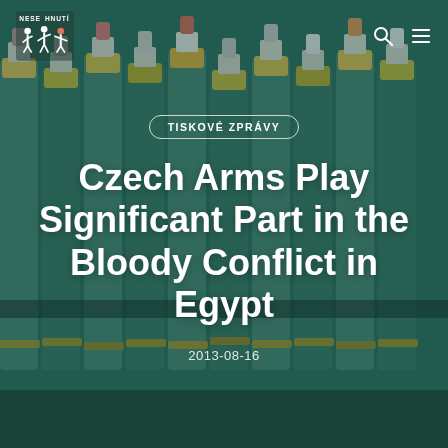[Figure (photo): Background photo of rows of brass artillery shells/bullets standing upright, tinted with dark teal/green overlay. A logo of Nesehnutí (showing stylized human figures) appears in the top-left corner. Navigation icons (search and menu) appear in the top-right corner.]
TISKOVÉ ZPRÁVY
Czech Arms Play Significant Part in the Bloody Conflict in Egypt
2013-08-16